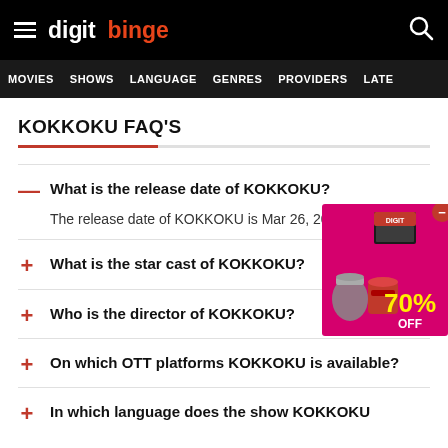digit binge
MOVIES  SHOWS  LANGUAGE  GENRES  PROVIDERS  LATE
KOKKOKU FAQ'S
What is the release date of KOKKOKU?
The release date of KOKKOKU is Mar 26, 2018.
What is the star cast of KOKKOKU?
Who is the director of KOKKOKU?
On which OTT platforms KOKKOKU is available?
In which language does the show KOKKOKU
[Figure (advertisement): Pink/magenta advertisement banner showing kitchen appliances with 70% OFF promotion]